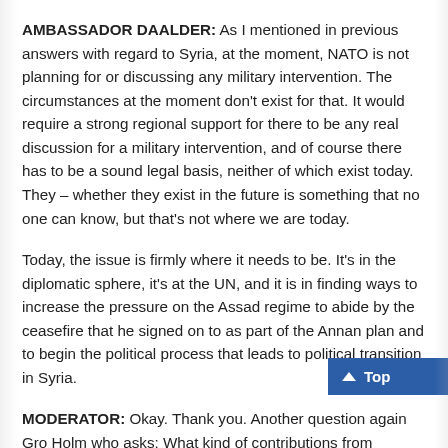AMBASSADOR DAALDER: As I mentioned in previous answers with regard to Syria, at the moment, NATO is not planning for or discussing any military intervention. The circumstances at the moment don't exist for that. It would require a strong regional support for there to be any real discussion for a military intervention, and of course there has to be a sound legal basis, neither of which exist today. They – whether they exist in the future is something that no one can know, but that's not where we are today.
Today, the issue is firmly where it needs to be. It's in the diplomatic sphere, it's at the UN, and it is in finding ways to increase the pressure on the Assad regime to abide by the ceasefire that he signed on to as part of the Annan plan and to begin the political process that leads to political transition in Syria.
MODERATOR: Okay. Thank you. Another question again Gro Holm who asks: What kind of contributions from European allies will the U.S. want or eventually ask for with